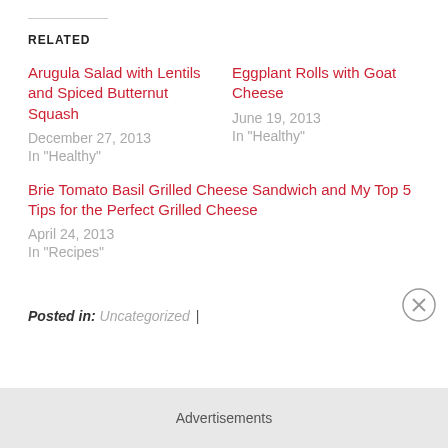RELATED
Arugula Salad with Lentils and Spiced Butternut Squash
December 27, 2013
In "Healthy"
Eggplant Rolls with Goat Cheese
June 19, 2013
In "Healthy"
Brie Tomato Basil Grilled Cheese Sandwich and My Top 5 Tips for the Perfect Grilled Cheese
April 24, 2013
In "Recipes"
Posted in: Uncategorized |
Advertisements